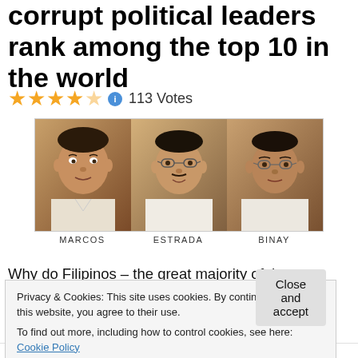corrupt political leaders rank among the top 10 in the world
★★★★☆ ⓘ 113 Votes
[Figure (photo): Three photos side by side labeled MARCOS, ESTRADA, BINAY]
MARCOS   ESTRADA   BINAY
Why do Filipinos – the great majority of them economically handicapped and socially disadvantaged – allow corrupt
Privacy & Cookies: This site uses cookies. By continuing to use this website, you agree to their use.
To find out more, including how to control cookies, see here: Cookie Policy
Close and accept